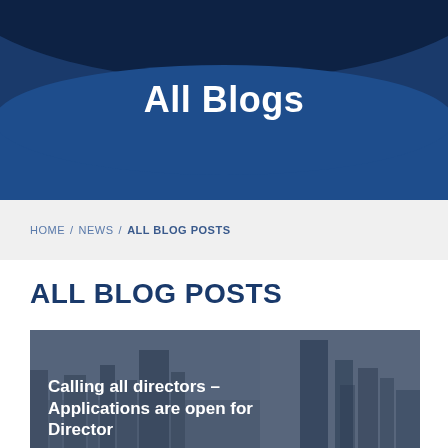All Blogs
HOME / NEWS / ALL BLOG POSTS
ALL BLOG POSTS
[Figure (photo): Blog post card showing a woman with glasses and blonde hair against a city skyline background. Text overlay reads: Calling all directors – Applications are open for Director]
Calling all directors – Applications are open for Director